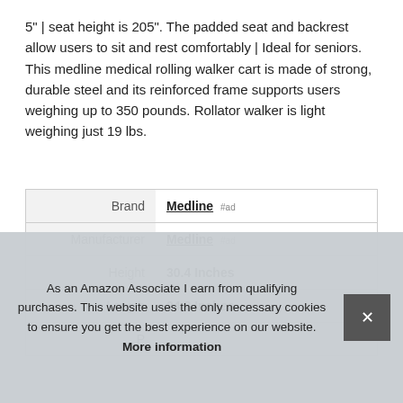5" | seat height is 205". The padded seat and backrest allow users to sit and rest comfortably | Ideal for seniors. This medline medical rolling walker cart is made of strong, durable steel and its reinforced frame supports users weighing up to 350 pounds. Rollator walker is light weighing just 19 lbs.
|  |  |
| --- | --- |
| Brand | Medline #ad |
| Manufacturer | Medline #ad |
| Height | 30.4 Inches |
| Length | 24.8 Inches |
| P |  |
As an Amazon Associate I earn from qualifying purchases. This website uses the only necessary cookies to ensure you get the best experience on our website. More information